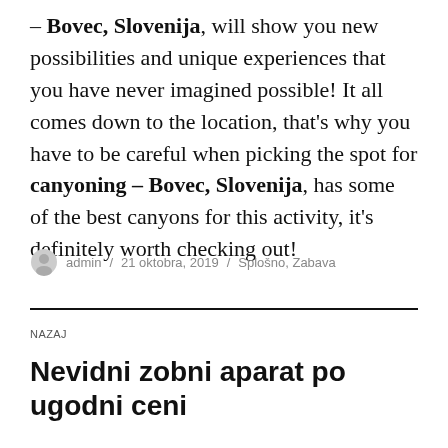– Bovec, Slovenija, will show you new possibilities and unique experiences that you have never imagined possible! It all comes down to the location, that's why you have to be careful when picking the spot for canyoning – Bovec, Slovenija, has some of the best canyons for this activity, it's definitely worth checking out!
admin / 21 oktobra, 2019 / Splošno, Zabava
NAZAJ
Nevidni zobni aparat po ugodni ceni